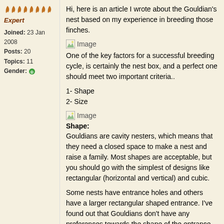[Figure (illustration): Row of decorative leaf/feather icons in orange-red color]
Expert
Joined: 23 Jan 2008
Posts: 20
Topics: 11
Gender: [globe icon]
Hi, here is an article I wrote about the Gouldian's nest based on my experience in breeding those finches.
[Figure (photo): Image placeholder]
One of the key factors for a successful breeding cycle, is certainly the nest box, and a perfect one should meet two important criteria..
1- Shape
2- Size
[Figure (photo): Image placeholder]
Shape:
Gouldians are cavity nesters, which means that they need a closed space to make a nest and raise a family. Most shapes are acceptable, but you should go with the simplest of designs like rectangular (horizontal and vertical) and cubic.
Some nests have entrance holes and others have a larger rectangular shaped entrance. I've found out that Gouldians don't have any preferences towards the shape of the entrance because if it i...